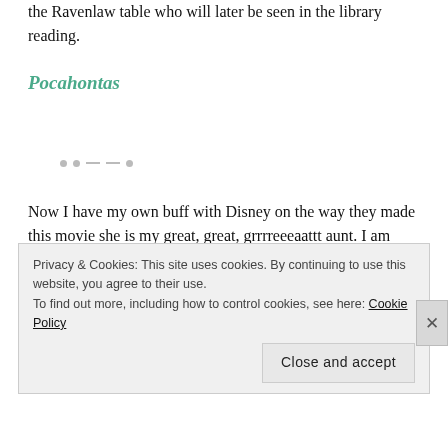the Ravenlaw table who will later be seen in the library reading.
Pocahontas
Now I have my own buff with Disney on the way they made this movie she is my great, great, grrrreeeaattt aunt. I am actually related to her sister. Any way, she earns a spot at the Slytherin table. I
Privacy & Cookies: This site uses cookies. By continuing to use this website, you agree to their use.
To find out more, including how to control cookies, see here: Cookie Policy
Close and accept